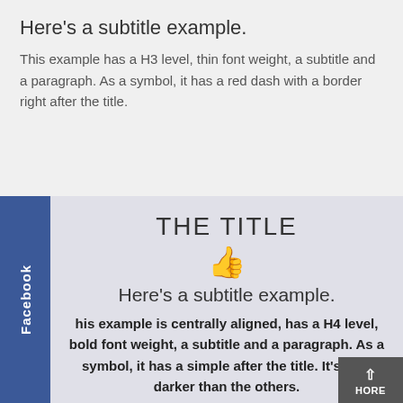Here's a subtitle example.
This example has a H3 level, thin font weight, a subtitle and a paragraph. As a symbol, it has a red dash with a border right after the title.
THE TITLE
[Figure (illustration): Red thumbs up icon]
Here's a subtitle example.
This example is centrally aligned, has a H4 level, bold font weight, a subtitle and a paragraph. As a symbol, it has a simple after the title. It's also darker than the others.